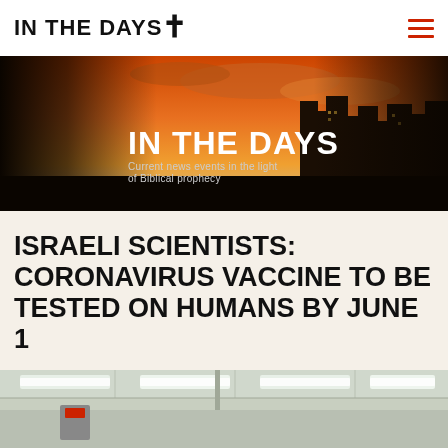IN THE DAYST
[Figure (photo): Banner image for 'In The Dayst' website showing a city skyline silhouette against an orange/red sunset sky with a cross. Text reads 'IN THE DAYST' and 'Current news events in the light of Biblical prophecy']
ISRAELI SCIENTISTS: CORONAVIRUS VACCINE TO BE TESTED ON HUMANS BY JUNE 1
[Figure (photo): Bottom portion of a photo showing what appears to be a laboratory or medical facility interior with fluorescent lighting]